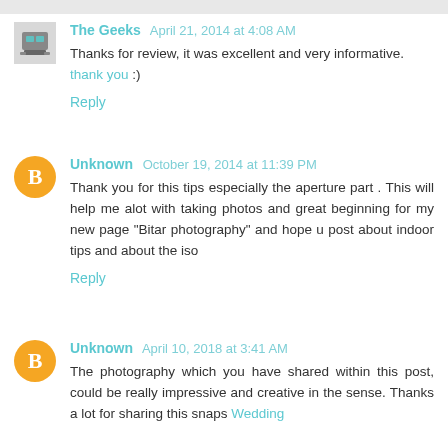The Geeks  April 21, 2014 at 4:08 AM
Thanks for review, it was excellent and very informative.
thank you :)
Reply
Unknown  October 19, 2014 at 11:39 PM
Thank you for this tips especially the aperture part . This will help me alot with taking photos and great beginning for my new page "Bitar photography" and hope u post about indoor tips and about the iso
Reply
Unknown  April 10, 2018 at 3:41 AM
The photography which you have shared within this post, could be really impressive and creative in the sense. Thanks a lot for sharing this snaps Wedding